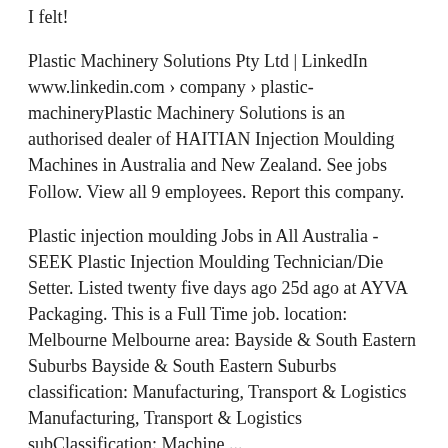I felt!
Plastic Machinery Solutions Pty Ltd | LinkedIn www.linkedin.com › company › plastic-machineryPlastic Machinery Solutions is an authorised dealer of HAITIAN Injection Moulding Machines in Australia and New Zealand. See jobs Follow. View all 9 employees. Report this company.
Plastic injection moulding Jobs in All Australia - SEEK Plastic Injection Moulding Technician/Die Setter. Listed twenty five days ago 25d ago at AYVA Packaging. This is a Full Time job. location: Melbourne Melbourne area: Bayside & South Eastern Suburbs Bayside & South Eastern Suburbs classification: Manufacturing, Transport & Logistics Manufacturing, Transport & Logistics subClassification: Machine ...
Industrial Plastic Moulding Machines for sale | Shop with